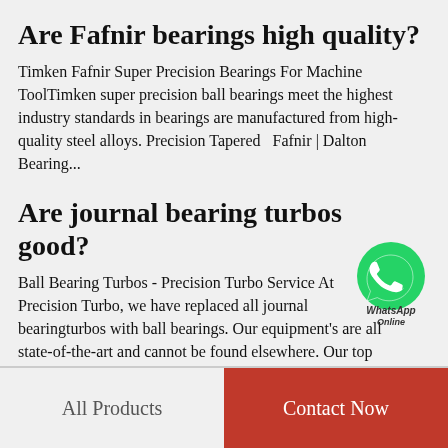Are Fafnir bearings high quality?
Timken Fafnir Super Precision Bearings For Machine ToolTimken super precision ball bearings meet the highest industry standards in bearings are manufactured from high-quality steel alloys. Precision Tapered  Fafnir | Dalton Bearing...
Are journal bearing turbos good?
[Figure (logo): WhatsApp Online green circular logo with phone icon and text 'WhatsApp Online']
Ball Bearing Turbos - Precision Turbo Service At Precision Turbo, we have replaced all journal bearingturbos with ball bearings. Our equipment's are all state-of-the-art and cannot be found elsewhere. Our top  Precision Turbo Talks - Ball...
All Products    Contact Now